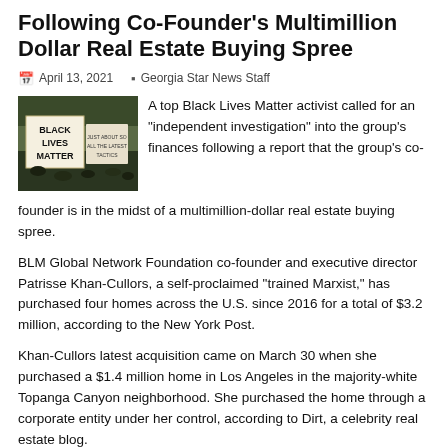Following Co-Founder's Multimillion Dollar Real Estate Buying Spree
April 13, 2021  Georgia Star News Staff
[Figure (photo): People holding Black Lives Matter protest signs outdoors]
A top Black Lives Matter activist called for an "independent investigation" into the group's finances following a report that the group's co-founder is in the midst of a multimillion-dollar real estate buying spree.
BLM Global Network Foundation co-founder and executive director Patrisse Khan-Cullors, a self-proclaimed "trained Marxist," has purchased four homes across the U.S. since 2016 for a total of $3.2 million, according to the New York Post.
Khan-Cullors latest acquisition came on March 30 when she purchased a $1.4 million home in Los Angeles in the majority-white Topanga Canyon neighborhood. She purchased the home through a corporate entity under her control, according to Dirt, a celebrity real estate blog.